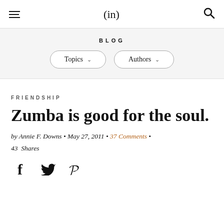(in)
BLOG
Topics ▾   Authors ▾
FRIENDSHIP
Zumba is good for the soul.
by Annie F. Downs • May 27, 2011 • 37 Comments • 43 Shares
[Figure (illustration): Social sharing icons: Facebook (f), Twitter (bird), Pinterest (P)]